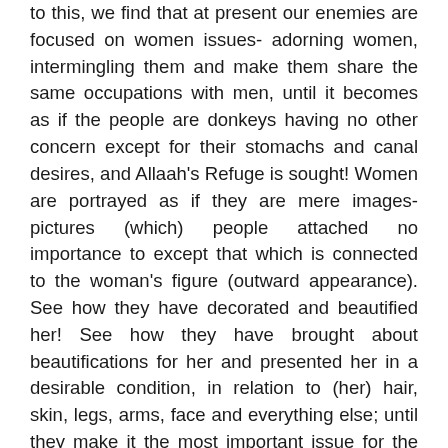to this, we find that at present our enemies are focused on women issues- adorning women, intermingling them and make them share the same occupations with men, until it becomes as if the people are donkeys having no other concern except for their stomachs and canal desires, and Allaah's Refuge is sought! Women are portrayed as if they are mere images- pictures (which) people attached no importance to except that which is connected to the woman's figure (outward appearance). See how they have decorated and beautified her! See how they have brought about beautifications for her and presented her in a desirable condition, in relation to (her) hair, skin, legs, arms, face and everything else; until they make it the most important issue for the woman, like a picture made out of plastic. They neither present to her the importance of establishing Ibaadah nor bearing children. [Slightly paraphrased] [Source: An Excerpt from this lecture: